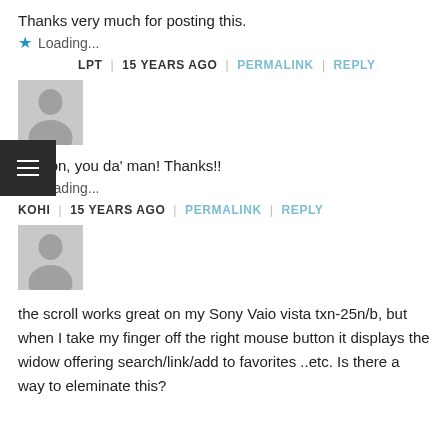Thanks very much for posting this.
★  Loading...
LPT  |  15 YEARS AGO  |  PERMALINK  |  REPLY
[Figure (illustration): Grey avatar placeholder silhouette icon]
Carlton, you da' man! Thanks!!
★  Loading...
KOHI  |  15 YEARS AGO  |  PERMALINK  |  REPLY
[Figure (illustration): Grey avatar placeholder silhouette icon]
the scroll works great on my Sony Vaio vista txn-25n/b, but when I take my finger off the right mouse button it displays the widow offering search/link/add to favorites ..etc. Is there a way to eleminate this?